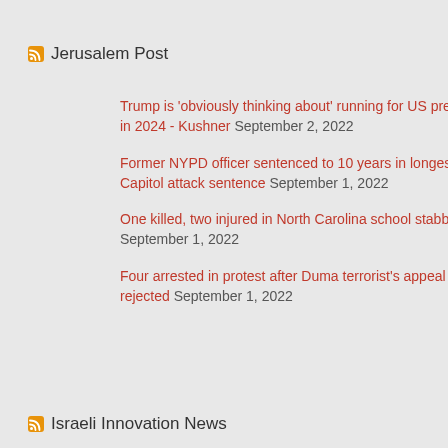Jerusalem Post
Trump is 'obviously thinking about' running for US president in 2024 - Kushner September 2, 2022
Former NYPD officer sentenced to 10 years in longest US Capitol attack sentence September 1, 2022
One killed, two injured in North Carolina school stabbing September 1, 2022
Four arrested in protest after Duma terrorist's appeal rejected September 1, 2022
Israeli Innovation News